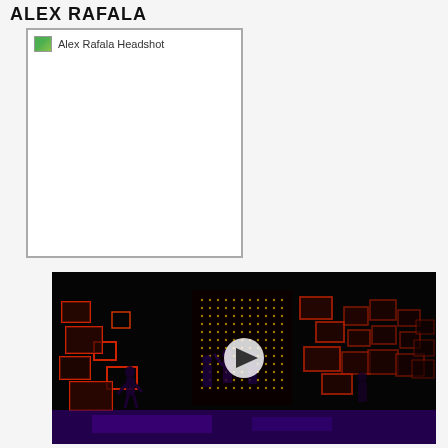ALEX RAFALA
[Figure (photo): Alex Rafala headshot placeholder image with broken image icon and alt text 'Alex Rafala Headshot']
[Figure (photo): Video thumbnail of a theatrical stage performance with red-lit set pieces, performers on stage, and a play button overlay. Dark background with purple-lit floor.]